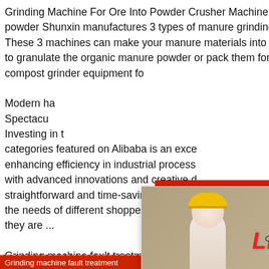Grinding Machine For Ore Into Powder Crusher Machine For Sale. Making manure into powder Shunxin manufactures 3 types of manure grinding machine for your requirements These 3 machines can make your manure materials into fine powders It is alternative for you to granulate the organic manure powder or pack them for selling directly Semiwet manure compost grinder equipment fo...
Modern ha... Spectacu... Investing in t... categories featured on Alibaba is an exce... enhancing efficiency in industrial process... with advanced innovations and creative d... straightforward and time-saving milling ta... the needs of different shoppers and indu... they are ...
[Figure (screenshot): Live Chat popup with workers in hard hats background, LIVE CHAT title in red italic, subtitle 'Click for a Free Consultation', Chat now (red) and Chat later (dark) buttons]
[Figure (photo): Right panel showing '24 Hrs Online' red bar, headset customer service agent photo, 'Need questions & suggestion?' dark box, and red Chat Now button]
Grinding machine fault treatment...